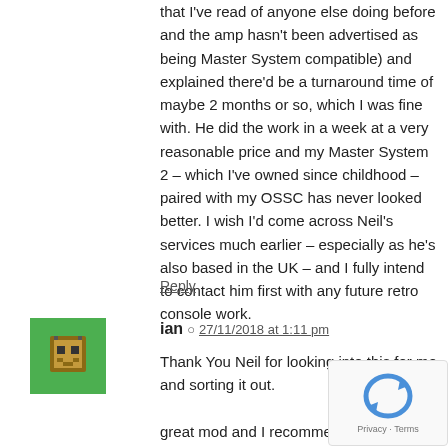that I've read of anyone else doing before and the amp hasn't been advertised as being Master System compatible) and explained there'd be a turnaround time of maybe 2 months or so, which I was fine with. He did the work in a week at a very reasonable price and my Master System 2 – which I've owned since childhood – paired with my OSSC has never looked better. I wish I'd come across Neil's services much earlier – especially as he's also based in the UK – and I fully intend to contact him first with any future retro console work.
Reply
ian  27/11/2018 at 1:11 pm
Thank You Neil for looking into this for me and sorting it out.
great mod and I recommend Neil for any job your after.